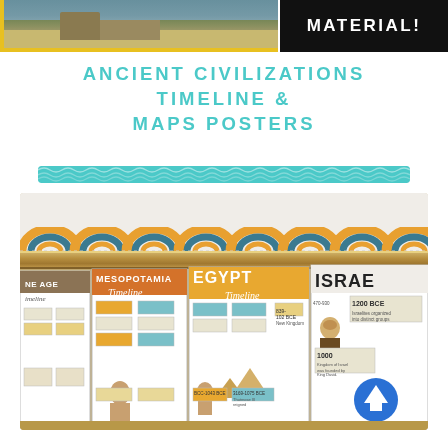[Figure (photo): Top banner with a landscape/building photo on the left and black banner with 'MATERIAL!' text on the right]
ANCIENT CIVILIZATIONS TIMELINE & MAPS POSTERS
[Figure (illustration): Teal decorative bar with wavy/zigzag pattern]
[Figure (photo): Classroom bulletin board photo showing timeline posters for Stone Age, Mesopotamia, Egypt, and Israel with a rainbow decorative border strip above, mounted on a wooden shelf]